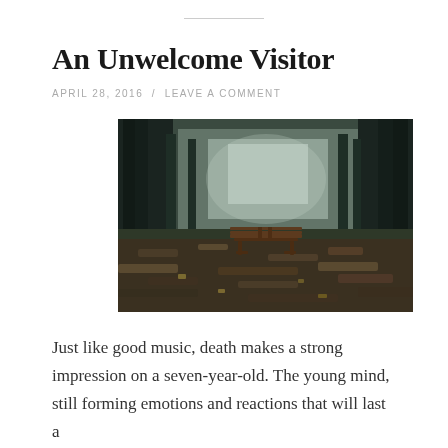An Unwelcome Visitor
APRIL 28, 2016  /  LEAVE A COMMENT
[Figure (photo): A dark, moody photograph of a park scene with a lone wooden bench surrounded by fallen leaves on the ground, tall dark trees in the foggy misty background creating an atmospheric, somber woodland setting.]
Just like good music, death makes a strong impression on a seven-year-old. The young mind, still forming emotions and reactions that will last a